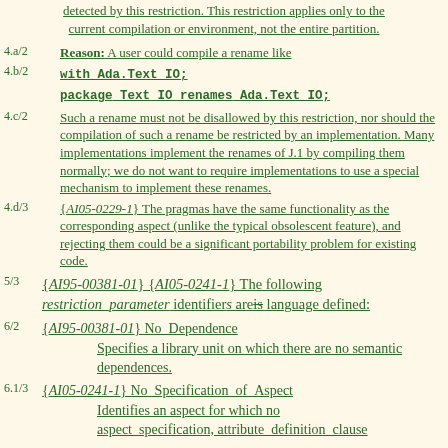detected by this restriction. This restriction applies only to the current compilation or environment, not the entire partition.
4.a/2  Reason: A user could compile a rename like
4.b/2  with Ada.Text_IO;
            package Text_IO renames Ada.Text_IO;
4.c/2  Such a rename must not be disallowed by this restriction, nor should the compilation of such a rename be restricted by an implementation. Many implementations implement the renames of J.1 by compiling them normally; we do not want to require implementations to use a special mechanism to implement these renames.
4.d/3  {AI05-0229-1} The pragmas have the same functionality as the corresponding aspect (unlike the typical obsolescent feature), and rejecting them could be a significant portability problem for existing code.
5/3  {AI95-00381-01} {AI05-0241-1} The following restriction parameter identifiers are is language defined:
6/2  {AI95-00381-01} No_Dependence  Specifies a library unit on which there are no semantic dependences.
6.1/3  {AI05-0241-1} No_Specification_of_Aspect  Identifies an aspect for which no aspect specification, attribute, definition, clause...